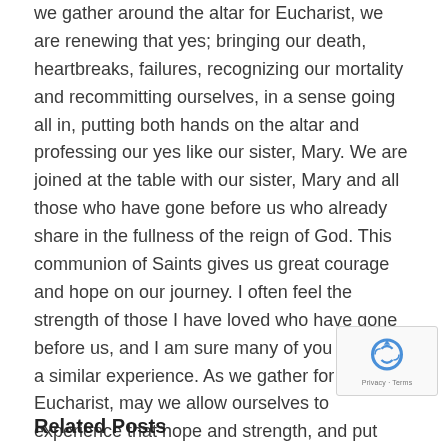we gather around the altar for Eucharist, we are renewing that yes; bringing our death, heartbreaks, failures, recognizing our mortality and recommitting ourselves, in a sense going all in, putting both hands on the altar and professing our yes like our sister, Mary. We are joined at the table with our sister, Mary and all those who have gone before us who already share in the fullness of the reign of God. This communion of Saints gives us great courage and hope on our journey. I often feel the strength of those I have loved who have gone before us, and I am sure many of you have had a similar experience. As we gather for Eucharist, may we allow ourselves to experience that hope and strength, and put both hands in and receive once again the bread for the journey, recognizing that we will one day share fully in that reign of God and all of creation will as well.
[Figure (other): reCAPTCHA badge with Privacy and Terms links]
Related Posts